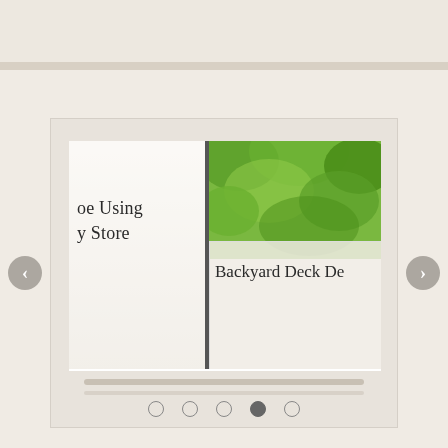[Figure (screenshot): A website carousel/slider widget showing two partially visible article cards side by side. Left card shows text 'be Using' and 'y Store' over a light floral background. Right card shows a green garden/outdoor image at top and text 'Backyard Deck De' (truncated) on a white overlay at bottom. Navigation arrows appear on left and right sides. Five pagination dots appear at the bottom with the fourth dot filled/active. Two horizontal progress bars are visible below the cards.]